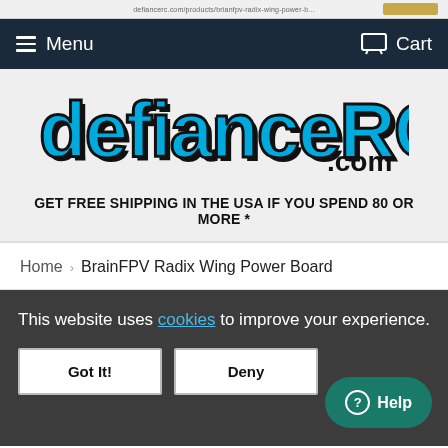Menu | Cart
[Figure (logo): defianceRC.com logo in cyan/blue and black with bold stylized lettering]
GET FREE SHIPPING IN THE USA IF YOU SPEND 80 OR MORE *
Home > BrainFPV Radix Wing Power Board
This website uses cookies to improve your experience.
Got It! | Deny | Help